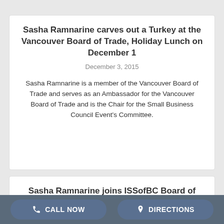Sasha Ramnarine carves out a Turkey at the Vancouver Board of Trade, Holiday Lunch on December 1
December 3, 2015
Sasha Ramnarine is a member of the Vancouver Board of Trade and serves as an Ambassador for the Vancouver Board of Trade and is the Chair for the Small Business Council Event’s Committee.
Sasha Ramnarine joins ISSofBC Board of
CALL NOW   DIRECTIONS